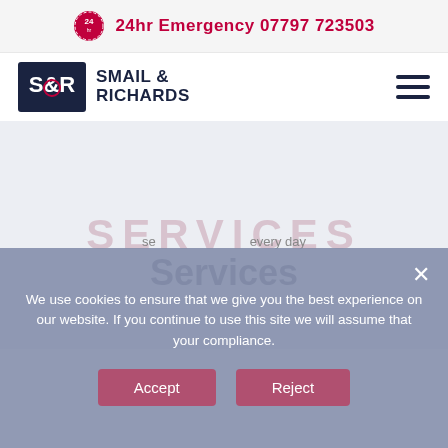24hr Emergency 07797 723503
[Figure (logo): Smail & Richards company logo with S&R emblem and company name]
SERVICES
We use cookies to ensure that we give you the best experience on our website. If you continue to use this site we will assume that your compliance.
Accept
Reject